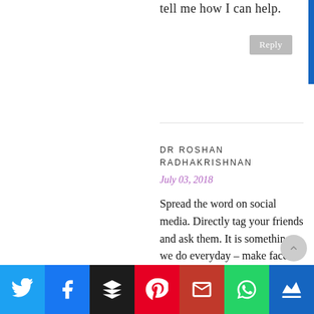tell me how I can help.
Reply
DR ROSHAN RADHAKRISHNAN
July 03, 2018
Spread the word on social media. Directly tag your friends and ask them. It is something we do everyday – make faces and take pics of ourselves. Only this
[Figure (infographic): Social media sharing bar with icons for Twitter, Facebook, Buffer, Pinterest, Gmail, WhatsApp, and a crown icon]